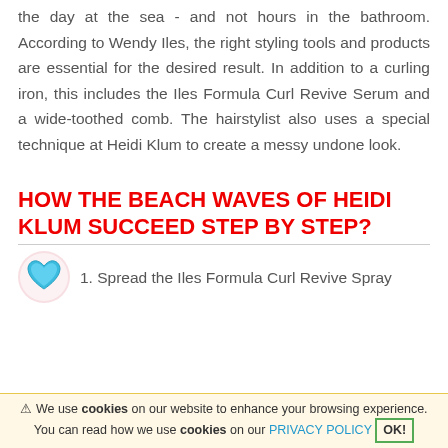the day at the sea - and not hours in the bathroom. According to Wendy Iles, the right styling tools and products are essential for the desired result. In addition to a curling iron, this includes the Iles Formula Curl Revive Serum and a wide-toothed comb. The hairstylist also uses a special technique at Heidi Klum to create a messy undone look.
HOW THE BEACH WAVES OF HEIDI KLUM SUCCEED STEP BY STEP?
1. Spread the Iles Formula Curl Revive Spray
⚠ We use cookies on our website to enhance your browsing experience. You can read how we use cookies on our PRIVACY POLICY  OK!